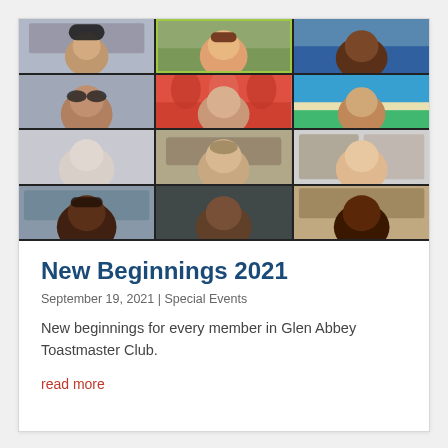[Figure (photo): A 4x3 grid of video call participants from a virtual Toastmasters meeting, showing 12 people in individual video tiles against various backgrounds]
New Beginnings 2021
September 19, 2021 | Special Events
New beginnings for every member in Glen Abbey Toastmaster Club.
read more